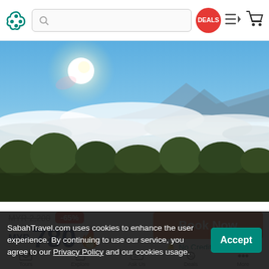Navigation bar with logo, search, DEALS button, menu icon, cart icon
[Figure (photo): Mountain landscape above clouds with bright sun in blue sky, trees in foreground]
MYR 2,200  -65%
MYR 780 🔥
Book Now
🔔 No Credit Card Fees
SabahTravel.com uses cookies to enhance the user experience. By continuing to use our service, you agree to our Privacy Policy and our cookies usage.
Accept
Tours  Explore  Ask Us  Deals  More